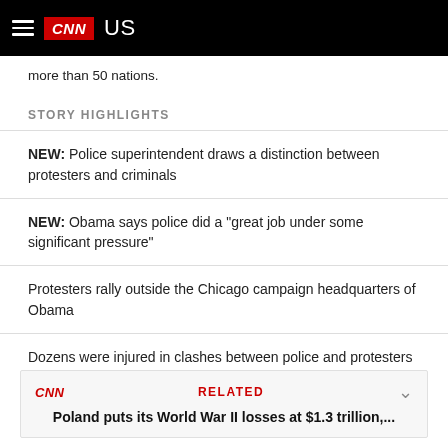CNN US
more than 50 nations.
STORY HIGHLIGHTS
NEW: Police superintendent draws a distinction between protesters and criminals
NEW: Obama says police did a "great job under some significant pressure"
Protesters rally outside the Chicago campaign headquarters of Obama
Dozens were injured in clashes between police and protesters Sunday
CNN RELATED Poland puts its World War II losses at $1.3 trillion,...